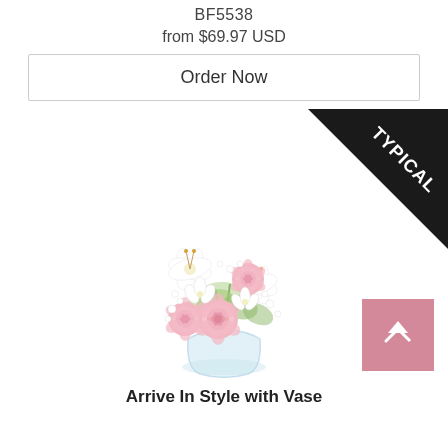BF5538
from $69.97 USD
Order Now
[Figure (photo): Flower bouquet arrangement of pink roses and white lilies in a glass vase, with a 'TYPICAL' black diagonal ribbon badge in the top right corner of the image.]
Arrive In Style with Vase